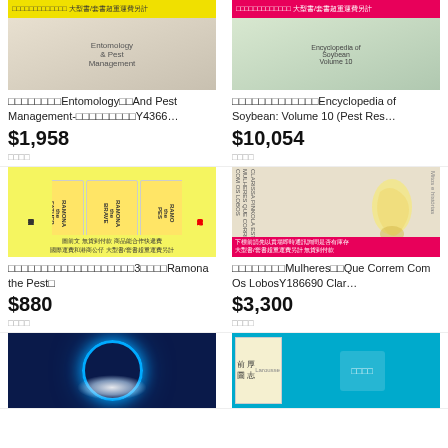[Figure (photo): Book listing image for Entomology and Pest Management with yellow banner]
□□□□□□□□Entomology□□And Pest Management-□□□□□□□□□Y4366…
$1,958
□□□□
[Figure (photo): Book listing image for Encyclopedia of Soybean with pink/red banner]
□□□□□□□□□□□□□Encyclopedia of Soybean: Volume 10 (Pest Res…
$10,054
□□□□
[Figure (photo): Photo showing 3 Ramona books (Ramona the Father, Ramona the Brave, Ramona the Pest) with yellow background]
□□□□□□□□□□□□□□□□□□□3□□□□Ramona the Pest□
$880
□□□□
[Figure (photo): Book cover for Mulheres Que Correm Com Os Lobos by Clarissa Pinkola Estes with pink banner]
□□□□□□□□Mulheres□□Que Correm Com Os LobosY186690 Clar…
$3,300
□□□□
[Figure (photo): Blue glowing moon circle image on dark background]
[Figure (photo): Teal book with yellow/cream label showing Chinese characters]